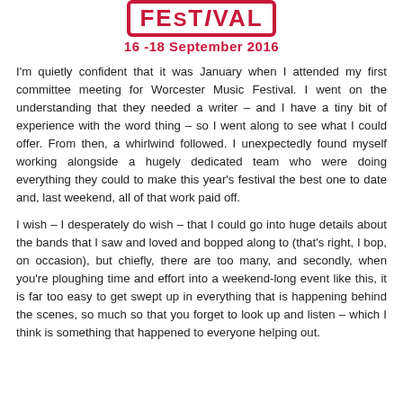[Figure (logo): Worcester Music Festival stamp logo with text 'FEStIVaL' in red block letters with a rectangular border, dated 16-18 September 2016]
I'm quietly confident that it was January when I attended my first committee meeting for Worcester Music Festival. I went on the understanding that they needed a writer – and I have a tiny bit of experience with the word thing – so I went along to see what I could offer. From then, a whirlwind followed. I unexpectedly found myself working alongside a hugely dedicated team who were doing everything they could to make this year's festival the best one to date and, last weekend, all of that work paid off.
I wish – I desperately do wish – that I could go into huge details about the bands that I saw and loved and bopped along to (that's right, I bop, on occasion), but chiefly, there are too many, and secondly, when you're ploughing time and effort into a weekend-long event like this, it is far too easy to get swept up in everything that is happening behind the scenes, so much so that you forget to look up and listen – which I think is something that happened to everyone helping out.